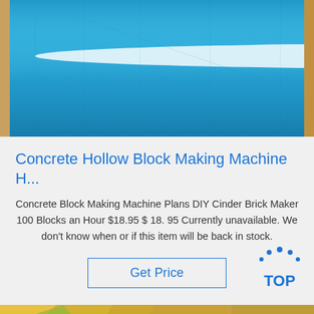[Figure (photo): Close-up photo of shiny blue metallic sheet or foil with a bright horizontal light reflection, set in a wooden frame]
Concrete Hollow Block Making Machine H...
Concrete Block Making Machine Plans DIY Cinder Brick Maker 100 Blocks an Hour $18.95 $ 18. 95 Currently unavailable. We don't know when or if this item will be back in stock.
Get Price
[Figure (photo): Partial bottom photo showing yellow and green materials, possibly fabric or paper, with some metallic or printed elements visible]